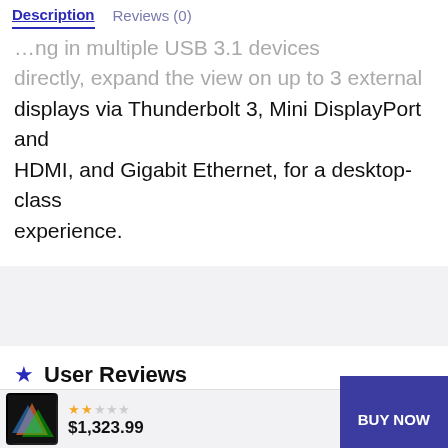Description | Reviews (0)
directly, expand the view on up to 3 external displays via Thunderbolt 3, Mini DisplayPort and HDMI, and Gigabit Ethernet, for a desktop-class experience.
User Reviews
0.0 out of 5
★★★★★  [progress bar]  0
$1,323.99
BUY NOW